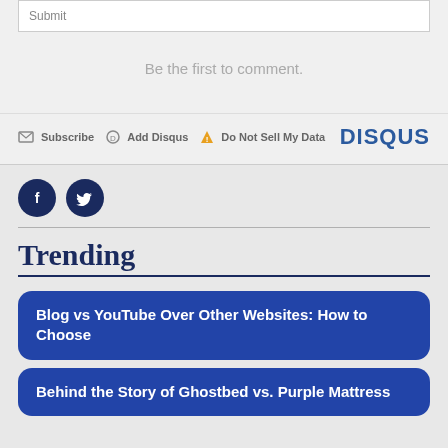Submit
Be the first to comment.
Subscribe  Add Disqus  Do Not Sell My Data  DISQUS
[Figure (logo): Facebook and Twitter social media icon buttons (dark navy circles with white f and bird icons)]
Trending
Blog vs YouTube Over Other Websites: How to Choose
Behind the Story of Ghostbed vs. Purple Mattress